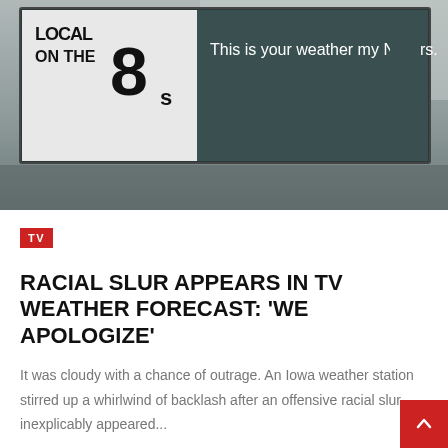[Figure (screenshot): TV weather broadcast screenshot showing 'Local on the 8s' logo and offensive text on screen reading 'This is your weather my Ni__rs.']
TV
RACIAL SLUR APPEARS IN TV WEATHER FORECAST: 'WE APOLOGIZE'
It was cloudy with a chance of outrage. An Iowa weather station stirred up a whirlwind of backlash after an offensive racial slur inexplicably appeared...
Admin
July 26, 2022
READ MORE